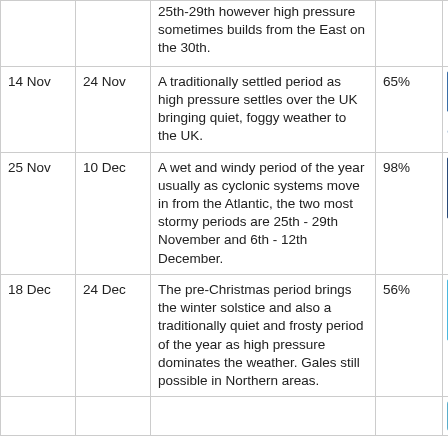| From | To | Description | Confidence | Weather |
| --- | --- | --- | --- | --- |
|  |  | 25th-29th however high pressure sometimes builds from the East on the 30th. |  |  |
| 14 Nov | 24 Nov | A traditionally settled period as high pressure settles over the UK bringing quiet, foggy weather to the UK. | 65% | [cloudy/foggy image] |
| 25 Nov | 10 Dec | A wet and windy period of the year usually as cyclonic systems move in from the Atlantic, the two most stormy periods are 25th - 29th November and 6th - 12th December. | 98% | [rainy image] |
| 18 Dec | 24 Dec | The pre-Christmas period brings the winter solstice and also a traditionally quiet and frosty period of the year as high pressure dominates the weather. Gales still possible in Northern areas. | 56% | [sunny image] |
|  |  | [partial row continues...] |  |  |